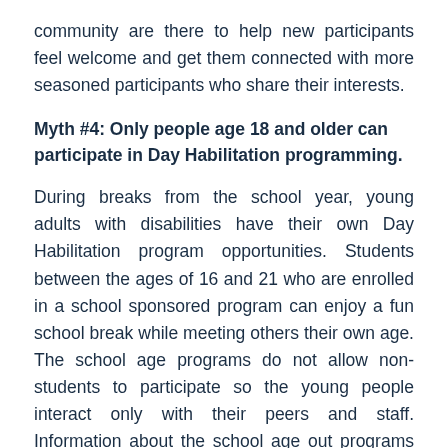community are there to help new participants feel welcome and get them connected with more seasoned participants who share their interests.
Myth #4: Only people age 18 and older can participate in Day Habilitation programming.
During breaks from the school year, young adults with disabilities have their own Day Habilitation program opportunities. Students between the ages of 16 and 21 who are enrolled in a school sponsored program can enjoy a fun school break while meeting others their own age. The school age programs do not allow non-students to participate so the young people interact only with their peers and staff. Information about the school age out programs is available throughout the year. It is a good idea to do your research to find a program that is a